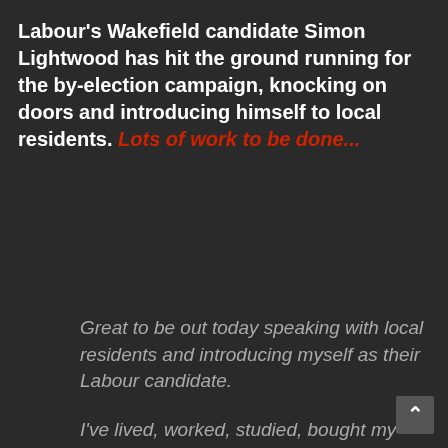Labour's Wakefield candidate Simon Lightwood has hit the ground running for the by-election campaign, knocking on doors and introducing himself to local residents. Lots of work to be done...
Great to be out today speaking with local residents and introducing myself as their Labour candidate.

I've lived, worked, studied, bought my first house, and even met my husband in Wakefield.

I love our area. It deserves the best and I'll fight each day to deliver for it.

pic.twitter.com/Hza0C6OJaI